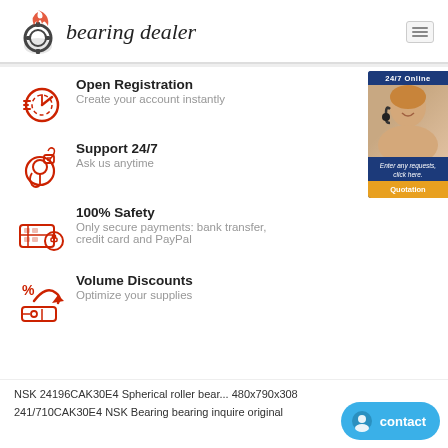bearing dealer
Open Registration — Create your account instantly
Support 24/7 — Ask us anytime
100% Safety — Only secure payments: bank transfer, credit card and PayPal
Volume Discounts — Optimize your supplies
NSK 24196CAK30E4 Spherical roller bearing 480x790x308
241/710CAK30E4 NSK Bearing bearing inquire original